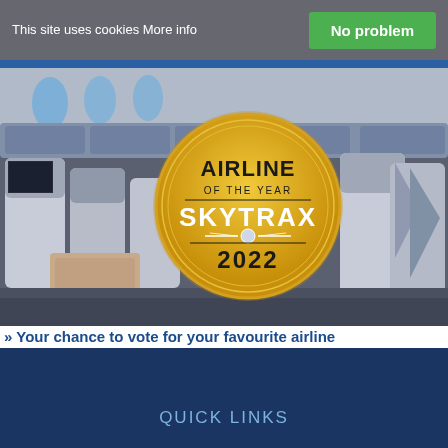This site uses cookies More info
No problem
[Figure (photo): Airplane business class cabin interior with luxury seats and overhead compartments. Overlaid with a gold circular badge reading AIRLINE OF THE YEAR SKYTRAX 2022]
» Your chance to vote for your favourite airline
QUICK LINKS